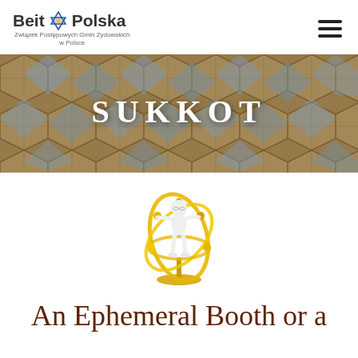Beit Polska — Związek Postępowych Gmin Żydowskich w Polsce
[Figure (photo): Hero banner with geometric stone/glass facade background and white bold text 'SUKKOT' centered]
[Figure (illustration): 3D white figurine character holding a golden armillary sphere / orbital rings, standing on a golden base]
An Ephemeral Booth or a